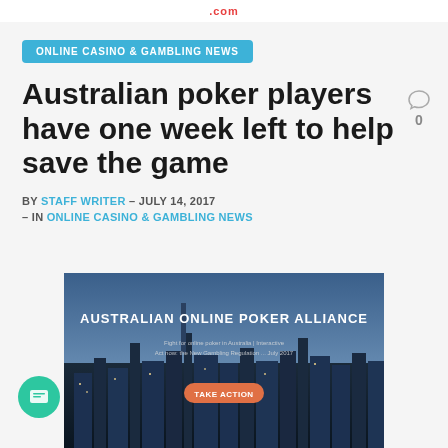.com
ONLINE CASINO & GAMBLING NEWS
Australian poker players have one week left to help save the game
BY STAFF WRITER – JULY 14, 2017 – IN ONLINE CASINO & GAMBLING NEWS
[Figure (photo): Australian Online Poker Alliance banner showing Sydney city skyline at dusk with an orange 'TAKE ACTION' button overlay and text about fighting for online poker]